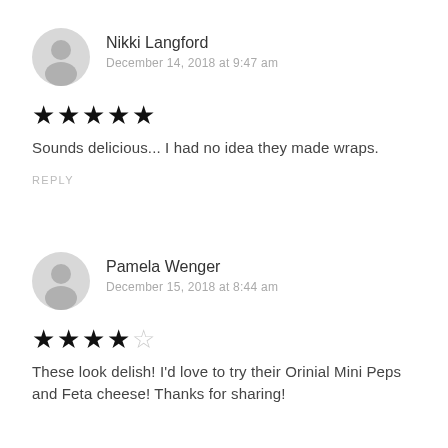Nikki Langford
December 14, 2018 at 9:47 am
★★★★★
Sounds delicious... I had no idea they made wraps.
REPLY
Pamela Wenger
December 15, 2018 at 8:44 am
★★★★☆
These look delish! I'd love to try their Orinial Mini Peps and Feta cheese! Thanks for sharing!